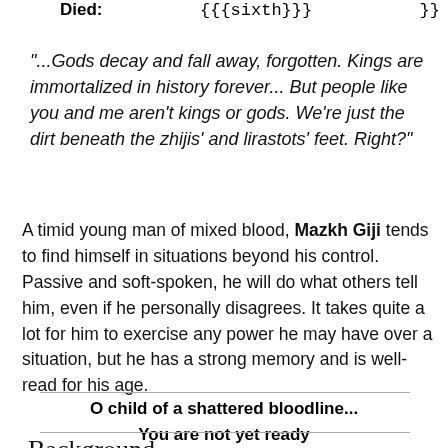Died: {{{sixth}}} }}
"...Gods decay and fall away, forgotten. Kings are immortalized in history forever... But people like you and me aren't kings or gods. We're just the dirt beneath the zhijis' and lirastots' feet. Right?"
A timid young man of mixed blood, Mazkh Giji tends to find himself in situations beyond his control. Passive and soft-spoken, he will do what others tell him, even if he personally disagrees. It takes quite a lot for him to exercise any power he may have over a situation, but he has a strong memory and is well-read for his age.
O child of a shattered bloodline...
You are not yet ready
to know what lies ahead.
Background